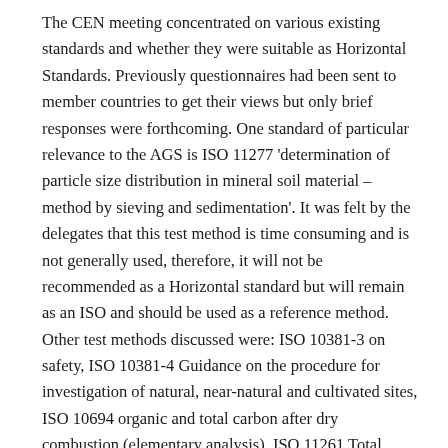The CEN meeting concentrated on various existing standards and whether they were suitable as Horizontal Standards. Previously questionnaires had been sent to member countries to get their views but only brief responses were forthcoming. One standard of particular relevance to the AGS is ISO 11277 'determination of particle size distribution in mineral soil material – method by sieving and sedimentation'. It was felt by the delegates that this test method is time consuming and is not generally used, therefore, it will not be recommended as a Horizontal standard but will remain as an ISO and should be used as a reference method. Other test methods discussed were: ISO 10381-3 on safety, ISO 10381-4 Guidance on the procedure for investigation of natural, near-natural and cultivated sites, ISO 10694 organic and total carbon after dry combustion (elementary analysis), ISO 11261 Total Nitrogen, ISO 11263 Phosphorus spectrometric soluble in sodium hydrogen carbonate, ISO 14255 Nitrate, ammonium and total soluble nitrogen using calcium